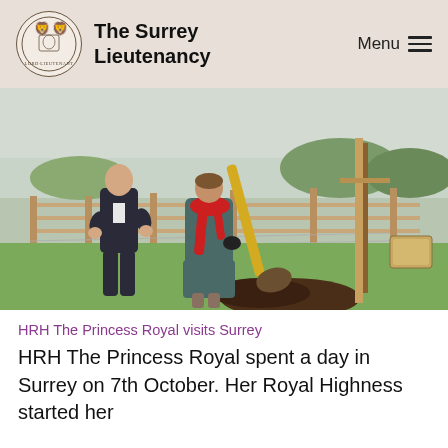The Surrey Lieutenancy
[Figure (photo): Two people outdoors near a newly planted tree. A woman in a teal coat with a red scarf holds a yellow-handled spade, scooping earth. A man in a dark suit stands beside her. Wooden fence and green fields in background.]
HRH The Princess Royal visits Surrey
HRH The Princess Royal spent a day in Surrey on 7th October. Her Royal Highness started her